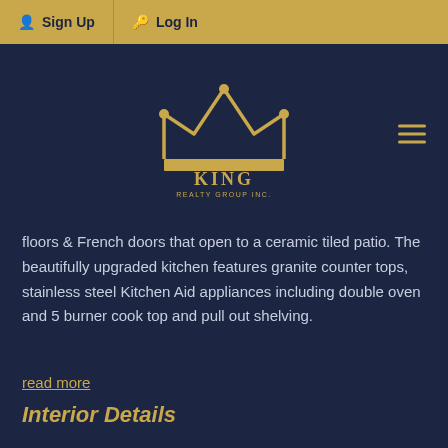Sign Up   Log In
[Figure (logo): King Realty Group Inc. crown logo in gold on dark navy background, with hamburger menu icon on the right]
floors & French doors that open to a ceramic tiled patio. The beautifully upgraded kitchen features granite counter tops, stainless steel Kitchen Aid appliances including double oven and 5 burner cook top and pull out shelving.
read more
Interior Details
Beds & Baths
Bedrooms:  5
Bathrooms:  3